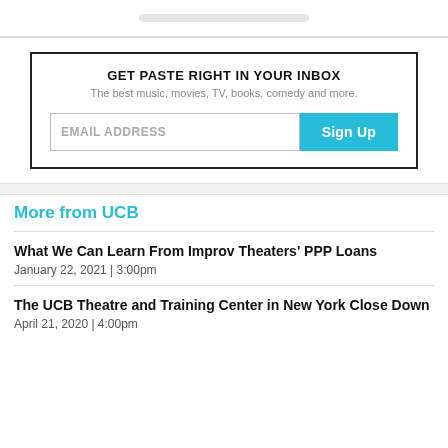[Figure (other): Search bar placeholder graphic at top of page]
GET PASTE RIGHT IN YOUR INBOX
The best music, movies, TV, books, comedy and more.
EMAIL ADDRESS  Sign Up
More from UCB
What We Can Learn From Improv Theaters' PPP Loans
January 22, 2021  |  3:00pm
The UCB Theatre and Training Center in New York Close Down
April 21, 2020  |  4:00pm